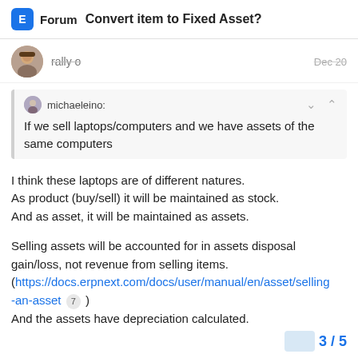Forum  Convert item to Fixed Asset?
rally o   Dec 20
michaeleino:
If we sell laptops/computers and we have assets of the same computers
I think these laptops are of different natures.
As product (buy/sell) it will be maintained as stock.
And as asset, it will be maintained as assets.
Selling assets will be accounted for in assets disposal gain/loss, not revenue from selling items.
(https://docs.erpnext.com/docs/user/manual/en/asset/selling-an-asset 7)
And the assets have depreciation calculated.
3 / 5